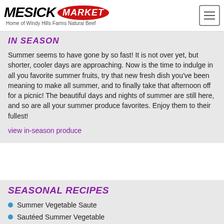MESICK MARKET — Home of Windy Hills Farms Natural Beef
IN SEASON
Summer seems to have gone by so fast! It is not over yet, but shorter, cooler days are approaching. Now is the time to indulge in all you favorite summer fruits, try that new fresh dish you've been meaning to make all summer, and to finally take that afternoon off for a picnic! The beautiful days and nights of summer are still here, and so are all your summer produce favorites. Enjoy them to their fullest!
view in-season produce
SEASONAL RECIPES
Summer Vegetable Saute
Sautéed Summer Vegetable